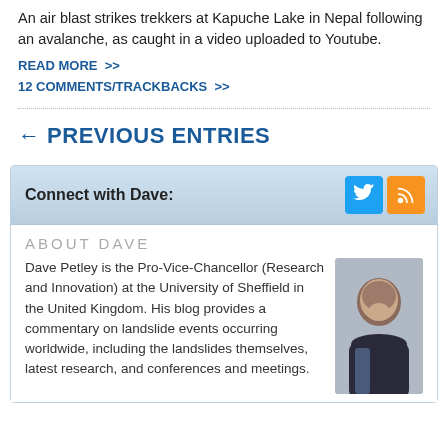An air blast strikes trekkers at Kapuche Lake in Nepal following an avalanche, as caught in a video uploaded to Youtube.
READ MORE  >>
12 COMMENTS/TRACKBACKS  >>
← PREVIOUS ENTRIES
Connect with Dave:
ABOUT DAVE
Dave Petley is the Pro-Vice-Chancellor (Research and Innovation) at the University of Sheffield in the United Kingdom. His blog provides a commentary on landslide events occurring worldwide, including the landslides themselves, latest research, and conferences and meetings.
[Figure (photo): Portrait photo of Dave Petley, a man in a dark jacket]